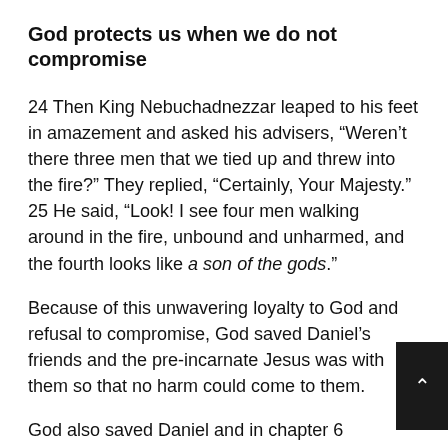God protects us when we do not compromise
24 Then King Nebuchadnezzar leaped to his feet in amazement and asked his advisers, “Weren’t there three men that we tied up and threw into the fire?” They replied, “Certainly, Your Majesty.” 25 He said, “Look! I see four men walking around in the fire, unbound and unharmed, and the fourth looks like a son of the gods.”
Because of this unwavering loyalty to God and refusal to compromise, God saved Daniel’s friends and the pre-incarnate Jesus was with them so that no harm could come to them.
God also saved Daniel and in chapter 6 when Daniel was thrown into the lion’s den, God closed the mouth of the lions so that they could not